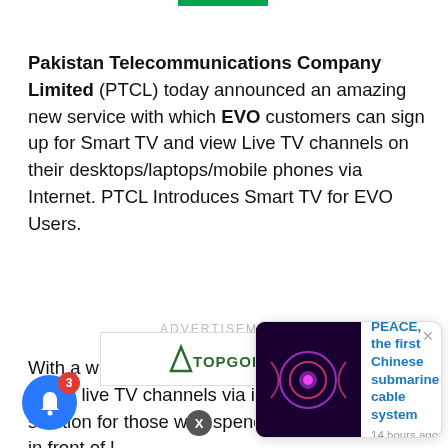[Figure (other): Green horizontal bar at top center of page, likely a logo or navigation element]
Pakistan Telecommunications Company Limited (PTCL) today announced an amazing new service with which EVO customers can sign up for Smart TV and view Live TV channels on their desktops/laptops/mobile phones via Internet. PTCL Introduces Smart TV for EVO Users.
ADVERTISEMENT
With a windows or mobile app, customers can watch live TV channels via internet. A perfect solution for those who spend most of their time in front of laptop or...
[Figure (other): TopGolf advertisement banner with logo]
[Figure (other): Popup notification card with dark purple thumbnail image and text: PEACE, the first Chinese submarine cable system, 14 hours ago]